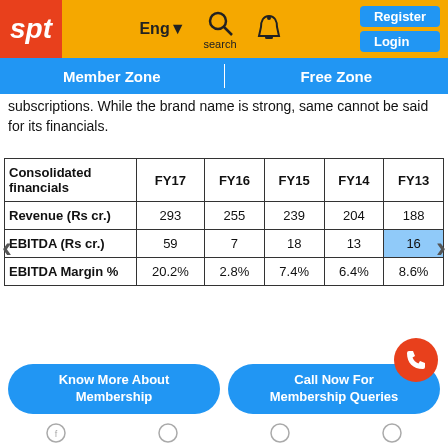spt | Eng▼ search 🔔 Register Login
Member Zone | Free Zone
subscriptions. While the brand name is strong, same cannot be said for its financials.
| Consolidated financials | FY17 | FY16 | FY15 | FY14 | FY13 |
| --- | --- | --- | --- | --- | --- |
| Revenue (Rs cr.) | 293 | 255 | 239 | 204 | 188 |
| EBITDA (Rs cr.) | 59 | 7 | 18 | 13 | 16 |
| EBITDA Margin % | 20.2% | 2.8% | 7.4% | 6.4% | 8.6% |
Know More About Membership | Call Now For Membership Queries